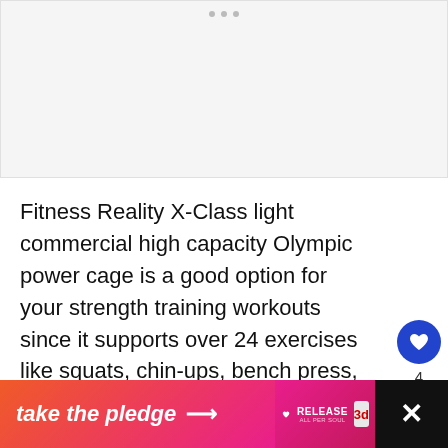[Figure (photo): Top image placeholder area with carousel navigation dots — light gray background representing an image viewer for a product (power cage).]
Fitness Reality X-Class light commercial high capacity Olympic power cage is a good option for your strength training workouts since it supports over 24 exercises like squats, chin-ups, bench press, and many more. This cage is spacious enough and supports very heavyweights.
[Figure (infographic): Advertisement banner: 'take the pledge' with arrow, RELEASE logo and partner logo on gradient orange-pink background, with an X close button on a dark background on the right.]